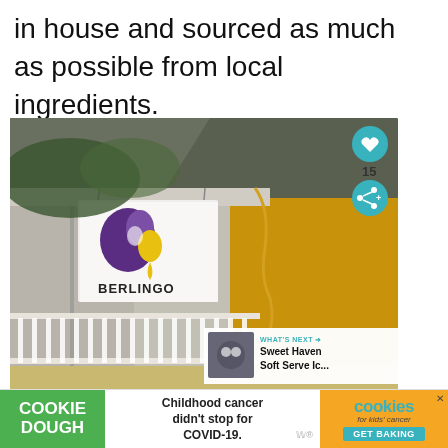in house and sourced as much as possible from local ingredients.
[Figure (photo): Exterior photo of Berlingo restaurant/cafe storefront: a house-style building with a yellow accent wall, white porch railing and fence, and a sign displaying the Berlingo logo (purple and yellow swirl design) with the business name 'BERLINGO'. Trees are visible overhead. UI overlays include a teal heart button, share button with count '15', and a 'WHAT'S NEXT' panel showing 'Sweet Haven Soft Serve Ic...' with a thumbnail.]
WHAT'S NEXT → Sweet Haven Soft Serve Ic...
COOKIE DOUGH  Childhood cancer didn't stop for COVID-19.  cookies for kids' cancer  GET BAKING